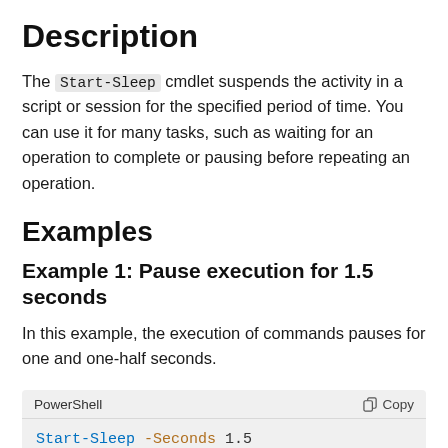Description
The Start-Sleep cmdlet suspends the activity in a script or session for the specified period of time. You can use it for many tasks, such as waiting for an operation to complete or pausing before repeating an operation.
Examples
Example 1: Pause execution for 1.5 seconds
In this example, the execution of commands pauses for one and one-half seconds.
[Figure (screenshot): PowerShell code block showing: Start-Sleep -Seconds 1.5]